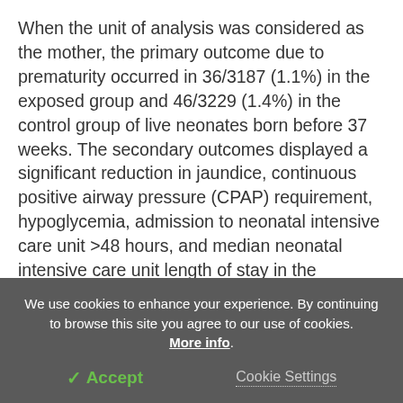When the unit of analysis was considered as the mother, the primary outcome due to prematurity occurred in 36/3187 (1.1%) in the exposed group and 46/3229 (1.4%) in the control group of live neonates born before 37 weeks. The secondary outcomes displayed a significant reduction in jaundice, continuous positive airway pressure (CPAP) requirement, hypoglycemia, admission to neonatal intensive care unit >48 hours, and median neonatal intensive care unit length of stay in the exposed group (Table 1).
We use cookies to enhance your experience. By continuing to browse this site you agree to our use of cookies. More info.
✓ Accept
Cookie Settings